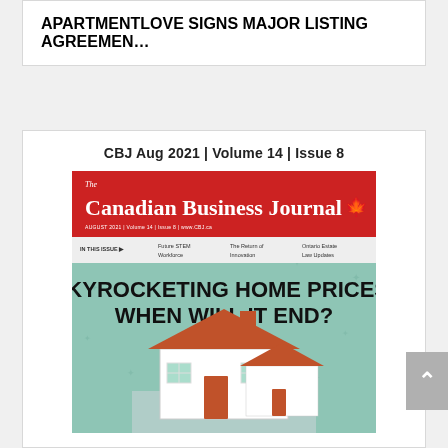APARTMENTLOVE SIGNS MAJOR LISTING AGREEMEN…
CBJ Aug 2021 | Volume 14 | Issue 8
[Figure (illustration): Cover of The Canadian Business Journal, August 2021, Volume 14, Issue 8. Red banner header with journal title and maple leaf logo. Subtitle bar listing: Future STEM Workforce, The Return of Innovation, Ontario Estate Law Updates. Main headline: SKYROCKETING HOME PRICES: WHEN WILL IT END? Green background with illustrated house graphic.]